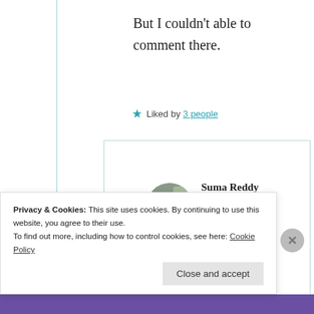But I couldn't able to comment there.
★ Liked by 3 people
Suma Reddy
9th Jun 2021 at 4:42 am
Privacy & Cookies: This site uses cookies. By continuing to use this website, you agree to their use.
To find out more, including how to control cookies, see here: Cookie Policy
Close and accept